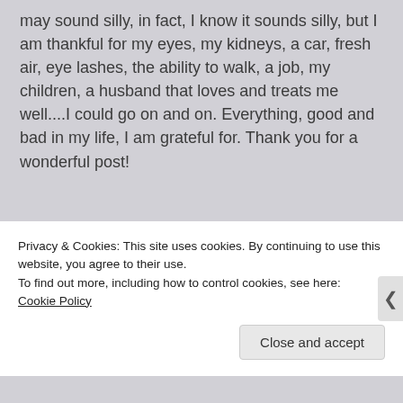may sound silly, in fact, I know it sounds silly, but I am thankful for my eyes, my kidneys, a car, fresh air, eye lashes, the ability to walk, a job, my children, a husband that loves and treats me well....I could go on and on. Everything, good and bad in my life, I am grateful for. Thank you for a wonderful post!
↩ Reply
[Figure (illustration): Small avatar image showing books/bookshelf graphic]
colouryourdream
Privacy & Cookies: This site uses cookies. By continuing to use this website, you agree to their use.
To find out more, including how to control cookies, see here: Cookie Policy
Close and accept